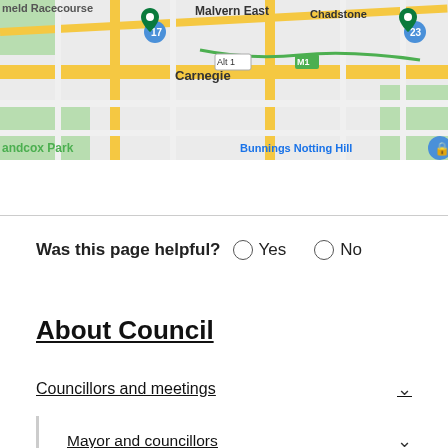[Figure (map): Google Maps screenshot showing Carnegie, Chadstone, Malvern East area in Melbourne, Australia. Shows roads, landmarks including 'meld Racecourse', 'Malvern East', 'Chadstone', 'Carnegie', 'Alt 1', 'M1', 'andcox Park', 'Bunnings Notting Hill', map markers numbered 17 and 23.]
Was this page helpful? Yes No
About Council
Councillors and meetings
Mayor and councillors